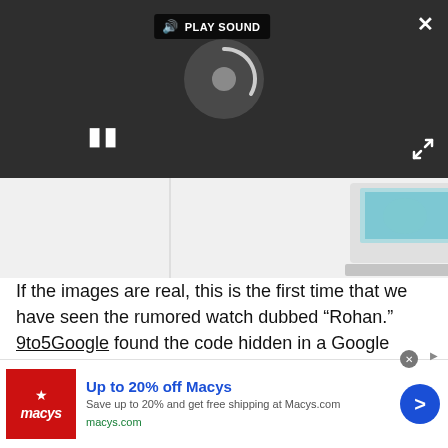[Figure (screenshot): Video player overlay showing PLAY SOUND button, pause icon, loading spinner, X close button, and expand icon on dark background]
[Figure (photo): Partial laptop image visible below the video overlay]
If the images are real, this is the first time that we have seen the rumored watch dubbed “Rohan.” 9to5Google found the code hidden in a Google update indicating that the Pixel Watch will use an Exynos chipset, rather than the Snapdragon model found in most Wear OS 3-eligible watches.
[Figure (screenshot): Macy's advertisement banner: Up to 20% off Macys. Save up to 20% and get free shipping at Macys.com. macys.com]